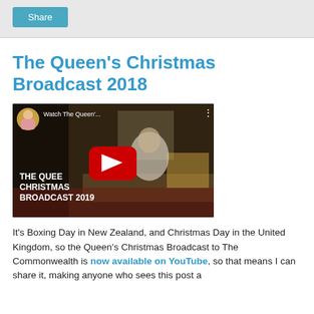Share
The Queen's Christmas Broadcast 2018
[Figure (screenshot): YouTube video thumbnail showing The Queen's Christmas Broadcast 2019, with a play button overlay, thumbnail of the Queen seated at a desk, and text 'THE QUEEN'S CHRISTMAS BROADCAST 2019' overlaid on the video image.]
It's Boxing Day in New Zealand, and Christmas Day in the United Kingdom, so the Queen's Christmas Broadcast to The Commonwealth is now available on YouTube, so that means I can share it, making anyone who sees this post a